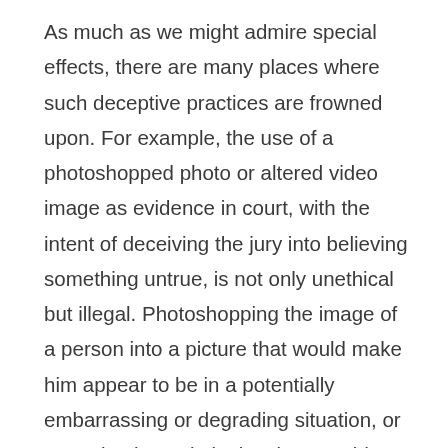As much as we might admire special effects, there are many places where such deceptive practices are frowned upon. For example, the use of a photoshopped photo or altered video image as evidence in court, with the intent of deceiving the jury into believing something untrue, is not only unethical but illegal. Photoshopping the image of a person into a picture that would make him appear to be in a potentially embarrassing or degrading situation, or engaging in a criminal action, would almost certainly have adverse consequences—and quite possibly subject the artist to legal action.
Using deceptive imagery, picking and